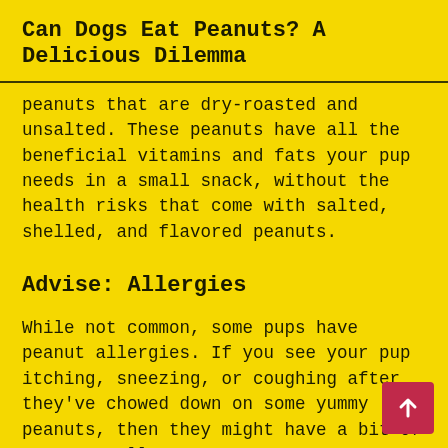Can Dogs Eat Peanuts? A Delicious Dilemma
peanuts that are dry-roasted and unsalted. These peanuts have all the beneficial vitamins and fats your pup needs in a small snack, without the health risks that come with salted, shelled, and flavored peanuts.
Advise: Allergies
While not common, some pups have peanut allergies. If you see your pup itching, sneezing, or coughing after they've chowed down on some yummy peanuts, then they might have a bit of a peanut allergy.